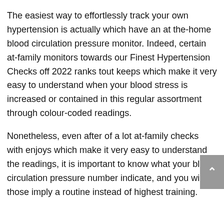The easiest way to effortlessly track your own hypertension is actually which have an at the-home blood circulation pressure monitor. Indeed, certain at-family monitors towards our Finest Hypertension Checks off 2022 ranks tout keeps which make it very easy to understand when your blood stress is increased or contained in this regular assortment through colour-coded readings.
Nonetheless, even after of a lot at-family checks with enjoys which make it very easy to understand the readings, it is important to know what your blood circulation pressure number indicate, and you will those imply a routine instead of highest training.
What do Blood pressure levels Wide variety Mean?
A blood tension understanding provides one or two number: a high amount, called systolic blood pressure